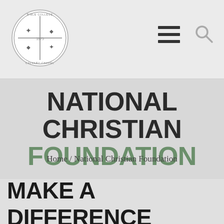Calvary Chapel Bible College — Navigation header with logo, hamburger menu, and search icon
NATIONAL CHRISTIAN FOUNDATION
Home / National Christian Foundation
MAKE A DIFFERENCE